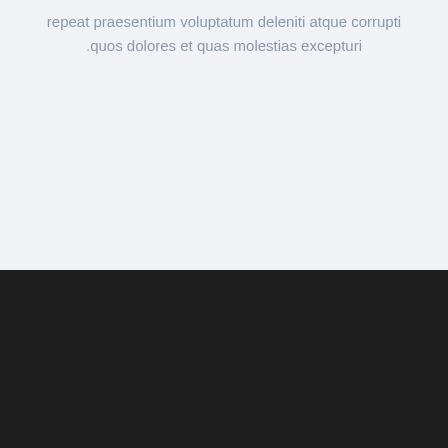repeat praesentium voluptatum deleniti atque corrupti quos dolores et quas molestias excepturi
HOME
SERVICES
PAGES
ELEMENTS
PORTFOLIO